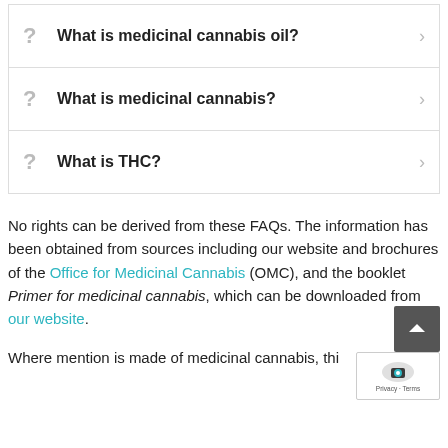? What is medicinal cannabis oil?
? What is medicinal cannabis?
? What is THC?
No rights can be derived from these FAQs. The information has been obtained from sources including our website and brochures of the Office for Medicinal Cannabis (OMC), and the booklet Primer for medicinal cannabis, which can be downloaded from our website.
Where mention is made of medicinal cannabis, thi…